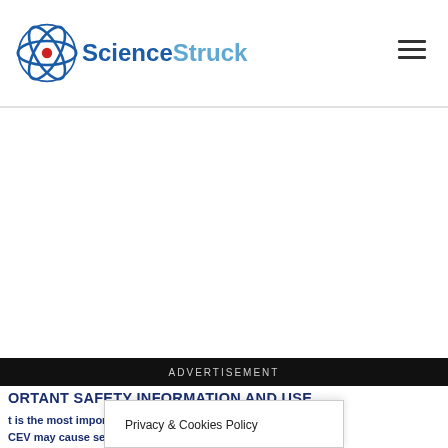ScienceStruck
[Figure (other): Advertisement banner area (blank white space)]
ADVERTISEMENT
ORTANT SAFETY INFORMATION AND USE
t is the most important information I should know about CEV®?
CEV may cause serious side effects, including:
reactions. Severe skin reactions have happened in people treated PADCEV; in some cases severe skin reactions have caused death.
Privacy & Cookies Policy